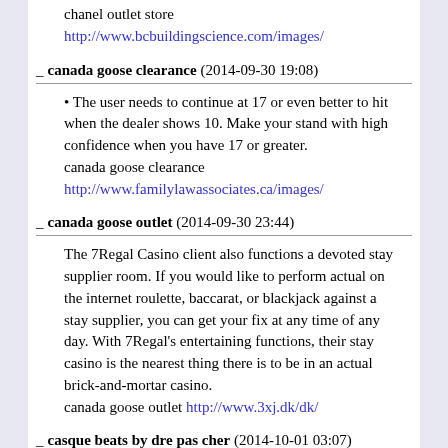chanel outlet store
http://www.bcbuildingscience.com/images/
_ canada goose clearance (2014-09-30 19:08)
&bull; The user needs to continue at 17 or even better to hit when the dealer shows 10. Make your stand with high confidence when you have 17 or greater.
canada goose clearance
http://www.familylawassociates.ca/images/
_ canada goose outlet (2014-09-30 23:44)
The 7Regal Casino client also functions a devoted stay supplier room. If you would like to perform actual on the internet roulette, baccarat, or blackjack against a stay supplier, you can get your fix at any time of any day. With 7Regal's entertaining functions, their stay casino is the nearest thing there is to be in an actual brick-and-mortar casino.
canada goose outlet http://www.3xj.dk/dk/
_ casque beats by dre pas cher (2014-10-01 03:07)
If you are interested in recreating yourself with entertaining as well as rewarding games then online casino with slot machines certainly should be the first choice. Since past seven years Slots Village has been providing the casino lovers with exclusive gaming...